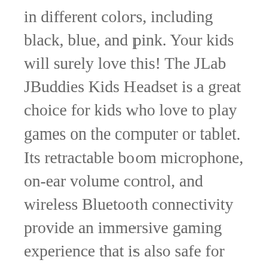in different colors, including black, blue, and pink. Your kids will surely love this! The JLab JBuddies Kids Headset is a great choice for kids who love to play games on the computer or tablet. Its retractable boom microphone, on-ear volume control, and wireless Bluetooth connectivity provide an immersive gaming experience that is also safe for your child's hearing.
Pros
Wireless Bluetooth enabled
Lightweight and comfortable design
On-ear volume control